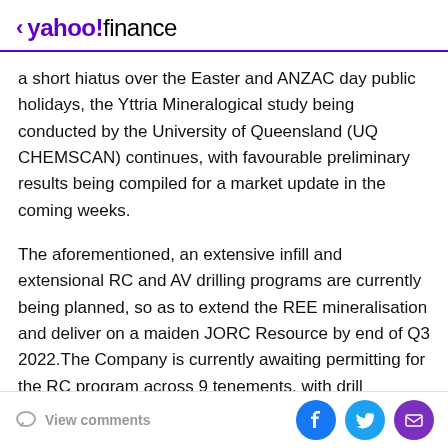< yahoo!finance
a short hiatus over the Easter and ANZAC day public holidays, the Yttria Mineralogical study being conducted by the University of Queensland (UQ CHEMSCAN) continues, with favourable preliminary results being compiled for a market update in the coming weeks.
The aforementioned, an extensive infill and extensional RC and AV drilling programs are currently being planned, so as to extend the REE mineralisation and deliver on a maiden JORC Resource by end of Q3 2022.The Company is currently awaiting permitting for the RC program across 9 tenements, with drill contracts in place for remainder of 2022-23.
View comments